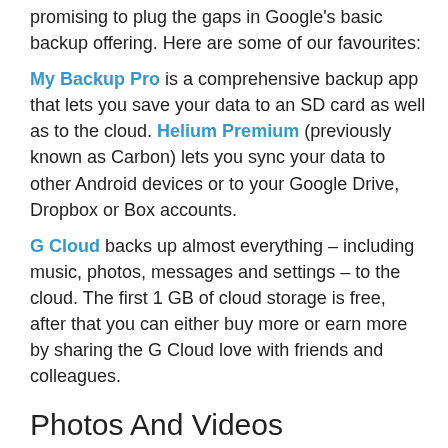promising to plug the gaps in Google's basic backup offering. Here are some of our favourites:
My Backup Pro is a comprehensive backup app that lets you save your data to an SD card as well as to the cloud. Helium Premium (previously known as Carbon) lets you sync your data to other Android devices or to your Google Drive, Dropbox or Box accounts.
G Cloud backs up almost everything – including music, photos, messages and settings – to the cloud. The first 1 GB of cloud storage is free, after that you can either buy more or earn more by sharing the G Cloud love with friends and colleagues.
Photos And Videos
If you work with images or video, you may want to consider a dedicated app to sync your photos and videos. Two big hitters are Google+ Auto-Backup and Dropbox Camera Upload. A real benefit of these is that